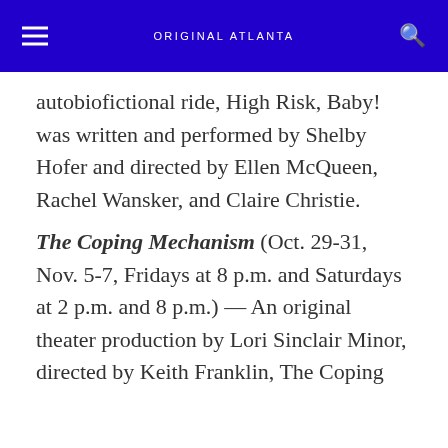ORIGINAL ATLANTA
autobiofictional ride, High Risk, Baby! was written and performed by Shelby Hofer and directed by Ellen McQueen, Rachel Wansker, and Claire Christie.
The Coping Mechanism (Oct. 29-31, Nov. 5-7, Fridays at 8 p.m. and Saturdays at 2 p.m. and 8 p.m.) — An original theater production by Lori Sinclair Minor, directed by Keith Franklin, The Coping